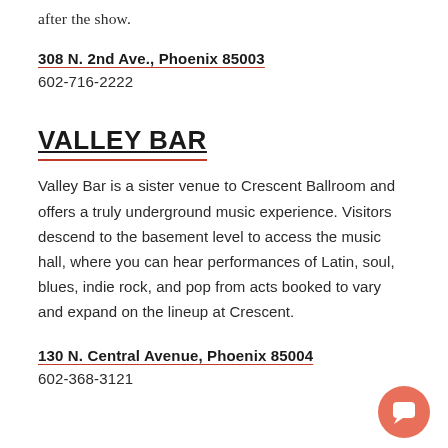after the show.
308 N. 2nd Ave., Phoenix 85003
602-716-2222
VALLEY BAR
Valley Bar is a sister venue to Crescent Ballroom and offers a truly underground music experience. Visitors descend to the basement level to access the music hall, where you can hear performances of Latin, soul, blues, indie rock, and pop from acts booked to vary and expand on the lineup at Crescent.
130 N. Central Avenue, Phoenix 85004
602-368-3121